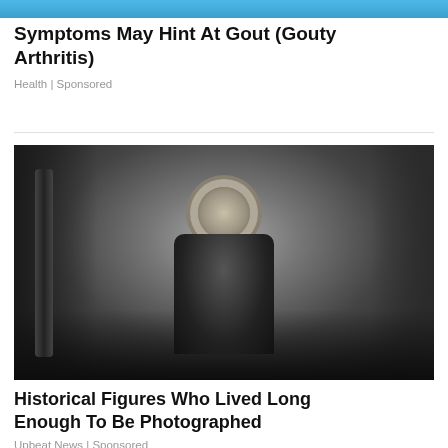[Figure (photo): Top decorative blue banner image strip]
Symptoms May Hint At Gout (Gouty Arthritis)
Health | Sponsored
[Figure (photo): Vintage black-and-white photograph of a historical figure seated indoors, wearing dark clothing and a hat, surrounded by period furniture and objects]
Historical Figures Who Lived Long Enough To Be Photographed
Upbeat News | Sponsored